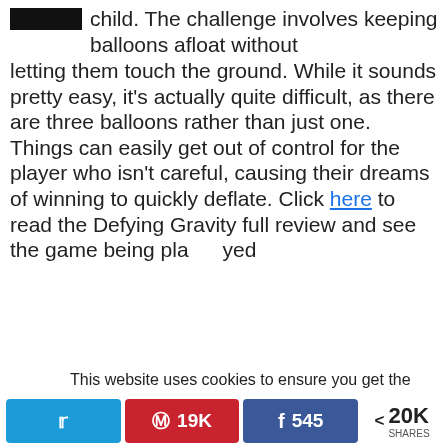[Figure (screenshot): Small dark thumbnail image at top left]
child. The challenge involves keeping balloons afloat without letting them touch the ground. While it sounds pretty easy, it's actually quite difficult, as there are three balloons rather than just one. Things can easily get out of control for the player who isn't careful, causing their dreams of winning to quickly deflate. Click here to read the Defying Gravity full review and see the game being played
This website uses cookies to ensure you get the best experience on our website. Learn more
19
Got it!
19K  545  20K SHARES